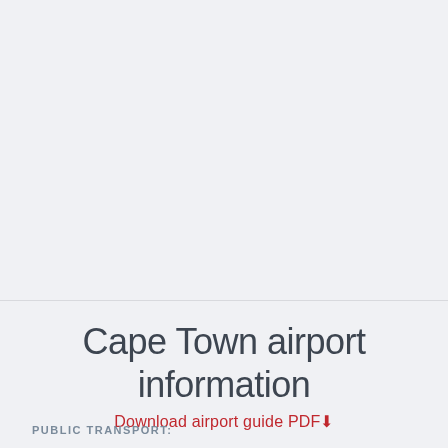Cape Town airport information
Download airport guide PDF
PUBLIC TRANSPORT: